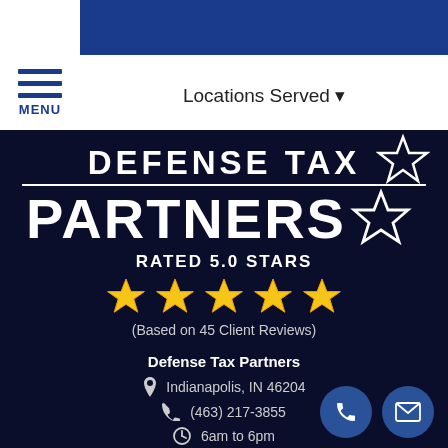MENU | Locations Served
[Figure (logo): Defense Tax Partners logo with star outline on dark navy background]
RATED 5.0 STARS
[Figure (infographic): Five gold star rating icons]
(Based on 45 Client Reviews)
Defense Tax Partners
Indianapolis, IN 46204
(463) 217-3855
6am to 6pm